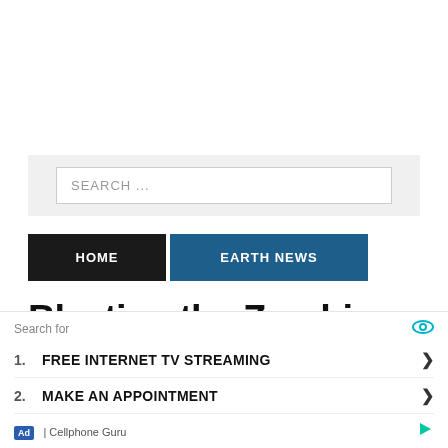[Figure (other): White blank area representing an advertisement placeholder at the top of the page]
SEARCH ...
HOME
EARTH NEWS
Blasting the Zombie
[Figure (screenshot): Ad overlay with search listing: 'Search for' header with eye icon, listing 1. FREE INTERNET TV STREAMING, 2. MAKE AN APPOINTMENT, and footer showing Ad | Cellphone Guru with play icon]